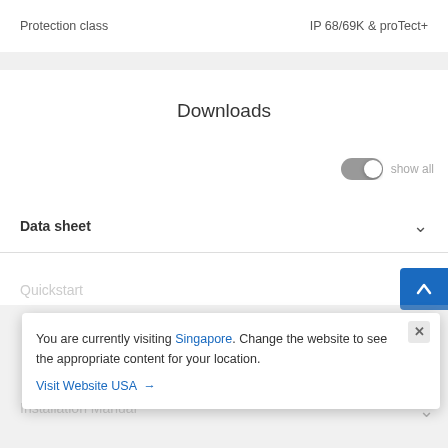|  |  |
| --- | --- |
| Protection class | IP 68/69K & proTect+ |
Downloads
show all
Data sheet
Quickstart
Installation Manual
You are currently visiting Singapore.
Change the website to see the appropriate content for your location.
Visit Website USA →